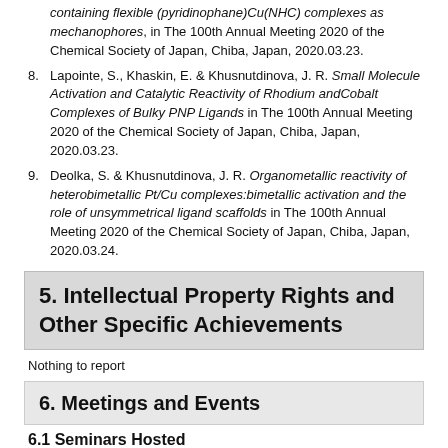containing flexible (pyridinophane)Cu(NHC) complexes as mechanophores, in The 100th Annual Meeting 2020 of the Chemical Society of Japan, Chiba, Japan, 2020.03.23.
8. Lapointe, S., Khaskin, E. & Khusnutdinova, J. R. Small Molecule Activation and Catalytic Reactivity of Rhodium andCobalt Complexes of Bulky PNP Ligands in The 100th Annual Meeting 2020 of the Chemical Society of Japan, Chiba, Japan, 2020.03.23.
9. Deolka, S. & Khusnutdinova, J. R. Organometallic reactivity of heterobimetallic Pt/Cu complexes:bimetallic activation and the role of unsymmetrical ligand scaffolds in The 100th Annual Meeting 2020 of the Chemical Society of Japan, Chiba, Japan, 2020.03.24.
5. Intellectual Property Rights and Other Specific Achievements
Nothing to report
6. Meetings and Events
6.1 Seminars Hosted